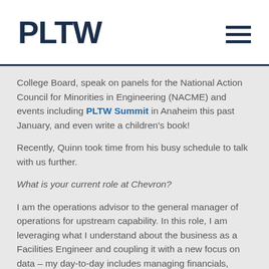PLTW
College Board, speak on panels for the National Action Council for Minorities in Engineering (NACME) and events including PLTW Summit in Anaheim this past January, and even write a children's book!
Recently, Quinn took time from his busy schedule to talk with us further.
What is your current role at Chevron?
I am the operations advisor to the general manager of operations for upstream capability. In this role, I am leveraging what I understand about the business as a Facilities Engineer and coupling it with a new focus on data – my day-to-day includes managing financials, focusing on safety, and reviewing operational performance data for key insights.
This is the second role outside of the engineering